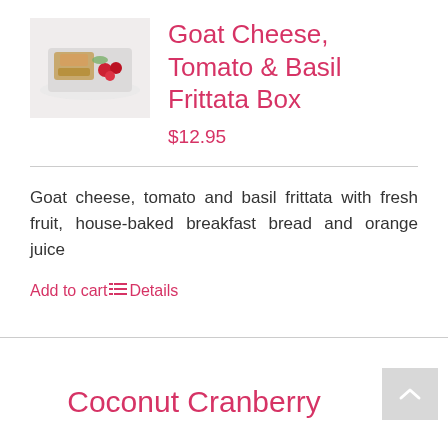[Figure (photo): Photo of a frittata box with fresh fruit on a white plate]
Goat Cheese, Tomato & Basil Frittata Box
$12.95
Goat cheese, tomato and basil frittata with fresh fruit, house-baked breakfast bread and orange juice
Add to cart Details
Coconut Cranberry